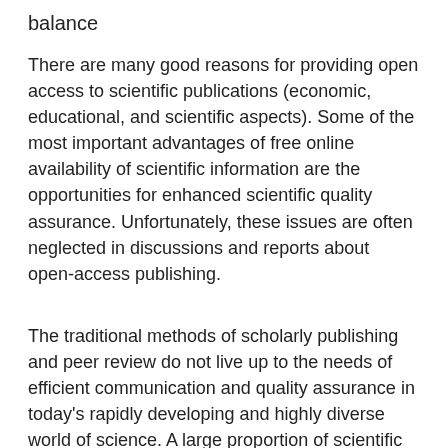balance
There are many good reasons for providing open access to scientific publications (economic, educational, and scientific aspects). Some of the most important advantages of free online availability of scientific information are the opportunities for enhanced scientific quality assurance. Unfortunately, these issues are often neglected in discussions and reports about open-access publishing.
The traditional methods of scholarly publishing and peer review do not live up to the needs of efficient communication and quality assurance in today's rapidly developing and highly diverse world of science. A large proportion of scientific publications are careless, useless, or false. Furthermore, they inhibit scholarly communication and scientific progress. This view may sound provocative but unfortunately it is not exaggerated (Pi¿½schl, 2004a,b; and references therein).